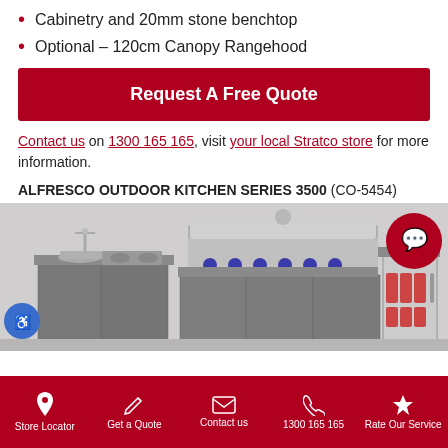Cabinetry and 20mm stone benchtop
Optional – 120cm Canopy Rangehood
Request A Free Quote
Contact us on 1300 165 165, visit your local Stratco store for more information.
ALFRESCO OUTDOOR KITCHEN SERIES 3500 (CO-5454)
[Figure (photo): Alfresco outdoor kitchen with sink, BBQ grill, and beverage fridge in grey cabinetry with stone benchtop]
Store Locator | Get a Quote | Contact us | 1300 165 165 | Rate Our Service